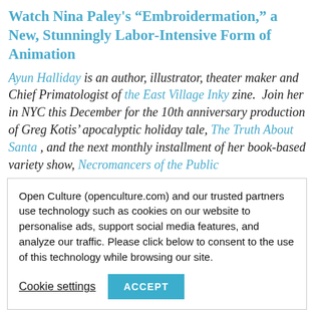Watch Nina Paley's “Embroidermation,” a New, Stunningly Labor-Intensive Form of Animation
Ayun Halliday is an author, illustrator, theater maker and Chief Primatologist of the East Village Inky zine. Join her in NYC this December for the 10th anniversary production of Greg Kotis’ apocalyptic holiday tale, The Truth About Santa, and the next monthly installment of her book-based variety show, Necromancers of the Public
Open Culture (openculture.com) and our trusted partners use technology such as cookies on our website to personalise ads, support social media features, and analyze our traffic. Please click below to consent to the use of this technology while browsing our site.
Cookie settings | ACCEPT